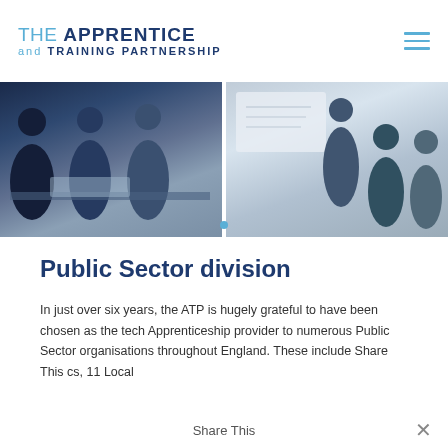THE APPRENTICE and TRAINING PARTNERSHIP
[Figure (photo): Two-panel banner image: left panel shows a group of people (mentor and apprentices) looking at documents at a desk; right panel shows professionals in a meeting room with someone presenting at a whiteboard.]
Public Sector division
In just over six years, the ATP is hugely grateful to have been chosen as the tech Apprenticeship provider to numerous Public Sector organisations throughout England. These include Share This cs, 11 Local
Share This ✕